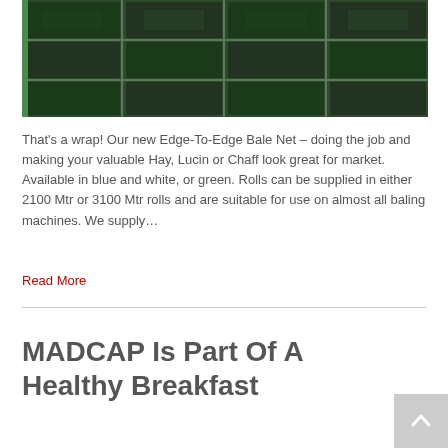[Figure (photo): Aerial or close-up view of hay bales wrapped in dark green/black bale netting arranged in a grid pattern, viewed from above]
That's a wrap! Our new Edge-To-Edge Bale Net – doing the job and making your valuable Hay, Lucin or Chaff look great for market. Available in blue and white, or green. Rolls can be supplied in either 2100 Mtr or 3100 Mtr rolls and are suitable for use on almost all baling machines. We supply…
Read More
MADCAP Is Part Of A Healthy Breakfast